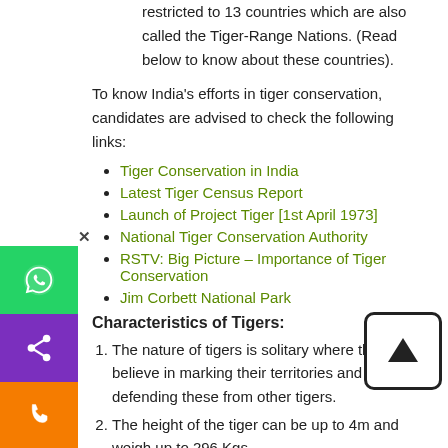The species that was once found all over Asia is now restricted to 13 countries which are also called the Tiger-Range Nations. (Read below to know about these countries).
To know India's efforts in tiger conservation, candidates are advised to check the following links:
Tiger Conservation in India
Latest Tiger Census Report
Launch of Project Tiger [1st April 1973]
National Tiger Conservation Authority
RSTV: Big Picture – Importance of Tiger Conservation
Jim Corbett National Park
Characteristics of Tigers:
The nature of tigers is solitary where they believe in marking their territories and defending these from other tigers.
The height of the tiger can be up to 4m and weigh up to 296 Kgs.
As the geographical location and subspecies influence the physical characteristics of the tiger; the northern